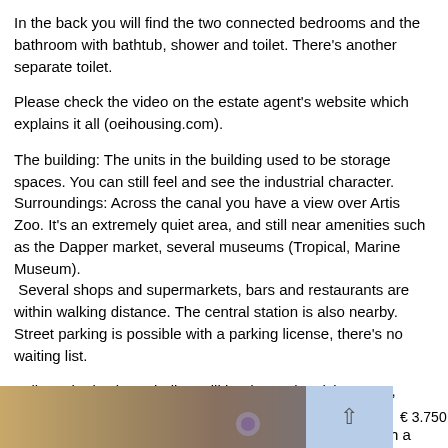In the back you will find the two connected bedrooms and the bathroom with bathtub, shower and toilet. There's another separate toilet.
Please check the video on the estate agent's website which explains it all (oeihousing.com).
The building: The units in the building used to be storage spaces. You can still feel and see the industrial character. Surroundings: Across the canal you have a view over Artis Zoo. It's an extremely quiet area, and still near amenities such as the Dapper market, several museums (Tropical, Marine Museum).  Several shops and supermarkets, bars and restaurants are within walking distance. The central station is also nearby. Street parking is possible with a parking license, there's no waiting list.
Indicated price is excluding utilities (gas, electricity, water, internet) of € 290 per month.
The apartment is suitable for a single person, couple (with a child). It is not suitable for sharing (2 independent persons).
[Figure (photo): Bottom thumbnail photo of apartment interior, partially visible]
€ 3.750